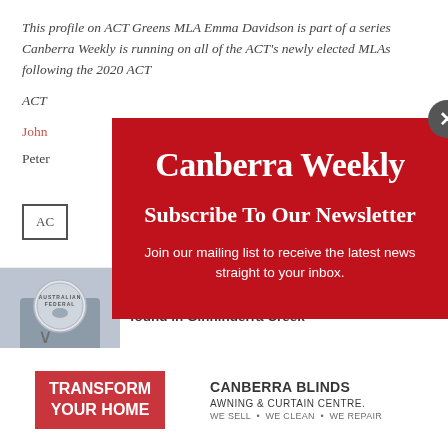This profile on ACT Greens MLA Emma Davidson is part of a series Canberra Weekly is running on all of the ACT's newly elected MLAs following the 2020 ACT...
John...
Peter...
[Figure (screenshot): Canberra Weekly newsletter subscription modal overlay with red background, white text showing 'Canberra Weekly' logo, 'Subscribe To Our Newsletter' heading, and 'Join our mailing list to receive the latest news straight to your inbox.' subtext. A grey close button with X is in the top-right corner.]
Body of McKellar man reported missing found in Ginninderra Creek
[Figure (photo): Australian Federal Police badge/logo image on left side of news bar]
[Figure (infographic): Canberra Blinds advertisement: 'Transform Your Home' on red left panel, 'Canberra Blinds Awning & Curtain Centre. We Sell • We Clean • We Repair' on right panel with room photo]